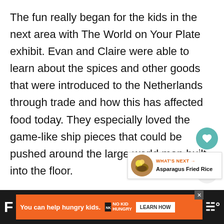The fun really began for the kids in the next area with The World on Your Plate exhibit. Evan and Claire were able to learn about the spices and other goods that were introduced to the Netherlands through trade and how this has affected food today. They especially loved the game-like ship pieces that could be pushed around the large world map built into the floor.
[Figure (other): Social media sidebar with heart/like button showing 204 likes and a share button]
[Figure (other): What's Next panel showing Asparagus Fried Rice with a food thumbnail image]
[Figure (other): Advertisement banner: orange No Kid Hungry ad with text 'You can help hungry kids. LEARN HOW' on dark background]